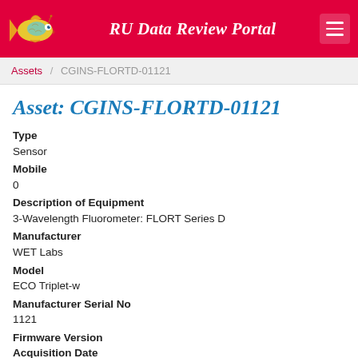RU Data Review Portal
Assets / CGINS-FLORTD-01121
Asset: CGINS-FLORTD-01121
Type
Sensor
Mobile
0
Description of Equipment
3-Wavelength Fluorometer: FLORT Series D
Manufacturer
WET Labs
Model
ECO Triplet-w
Manufacturer Serial No
1121
Firmware Version

Acquisition Date
10/2/13